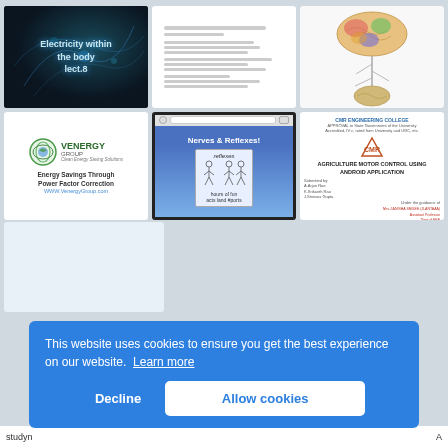[Figure (screenshot): Thumbnail: 'Electricity within the body lect.8' slide with neural/brain background]
[Figure (screenshot): Thumbnail: Document page with list items and text lines]
[Figure (screenshot): Thumbnail: Brain anatomy diagram showing brain cross-section and nervous system]
[Figure (screenshot): Thumbnail: Venergy Group - Clean Energy Solutions - Energy Savings Through Power Factor Correction]
[Figure (screenshot): Thumbnail: 'Nerves & Reflexes!' presentation slide with reflexes illustration]
[Figure (screenshot): Thumbnail: CMR Engineering College - Agriculture Motor Control Using Android Application]
[Figure (screenshot): Thumbnail: Partial white/light blue document thumbnail]
This website uses cookies to ensure you get the best experience on our website. Learn more
Decline
Allow cookies
studyn... A